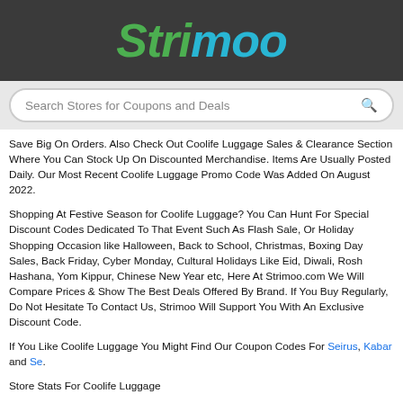Strimoo
Search Stores for Coupons and Deals
Save Big On Orders. Also Check Out Coolife Luggage Sales & Clearance Section Where You Can Stock Up On Discounted Merchandise. Items Are Usually Posted Daily. Our Most Recent Coolife Luggage Promo Code Was Added On August 2022.
Shopping At Festive Season for Coolife Luggage? You Can Hunt For Special Discount Codes Dedicated To That Event Such As Flash Sale, Or Holiday Shopping Occasion like Halloween, Back to School, Christmas, Boxing Day Sales, Back Friday, Cyber Monday, Cultural Holidays Like Eid, Diwali, Rosh Hashana, Yom Kippur, Chinese New Year etc, Here At Strimoo.com We Will Compare Prices & Show The Best Deals Offered By Brand. If You Buy Regularly, Do Not Hesitate To Contact Us, Strimoo Will Support You With An Exclusive Discount Code.
If You Like Coolife Luggage You Might Find Our Coupon Codes For Seirus, Kabar and Se.
Store Stats For Coolife Luggage